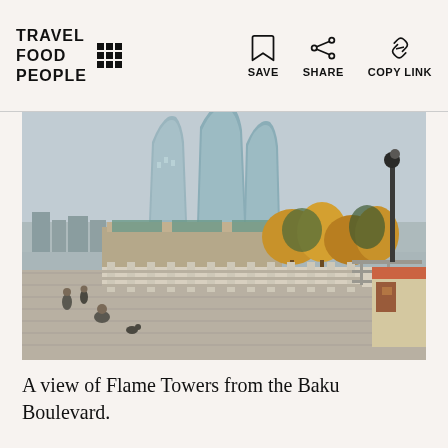TRAVEL FOOD PEOPLE
[Figure (photo): A view of the Flame Towers skyscrapers in Baku, Azerbaijan, photographed from the Baku Boulevard. The image shows a wide promenade with stone railings in the foreground, autumn yellow trees in the middle distance, and the three distinctive flame-shaped glass towers rising against a grey sky in the background. A street lamp and a small kiosk are visible on the right side.]
A view of Flame Towers from the Baku Boulevard.